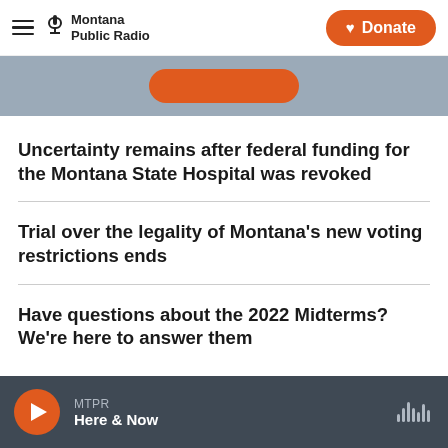Montana Public Radio | Donate
[Figure (screenshot): Partial banner strip with an orange button, on a steel-blue background]
Uncertainty remains after federal funding for the Montana State Hospital was revoked
Trial over the legality of Montana's new voting restrictions ends
Have questions about the 2022 Midterms? We're here to answer them
MTPR Here & Now